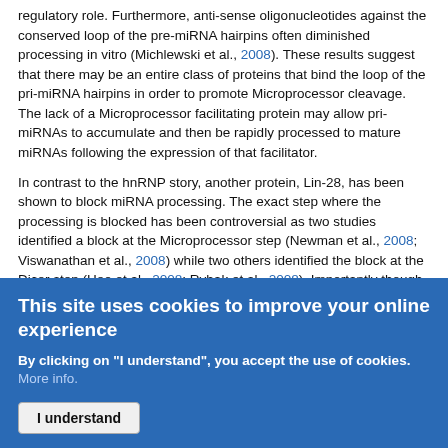regulatory role. Furthermore, anti-sense oligonucleotides against the conserved loop of the pre-miRNA hairpins often diminished processing in vitro (Michlewski et al., 2008). These results suggest that there may be an entire class of proteins that bind the loop of the pri-miRNA hairpins in order to promote Microprocessor cleavage. The lack of a Microprocessor facilitating protein may allow pri-miRNAs to accumulate and then be rapidly processed to mature miRNAs following the expression of that facilitator.
In contrast to the hnRNP story, another protein, Lin-28, has been shown to block miRNA processing. The exact step where the processing is blocked has been controversial as two studies identified a block at the Microprocessor step (Newman et al., 2008; Viswanathan et al., 2008) while two others identified the block at the Dicer step (Heo et al., 2008; Rybak et al., 2008). Importantly though, they all agree that Lin-28 inhibits the maturation of a particular subset of miRNAs, the let-7 miRNAs. The search for Lin-28 began with the finding that while mature let-7 was absent in ES cells and the early embryo, the pri-miRNA was being transcribed (Thomson et al., 2006;
This site uses cookies to improve your online experience
By clicking on "I understand", you accept the use of cookies. More info.